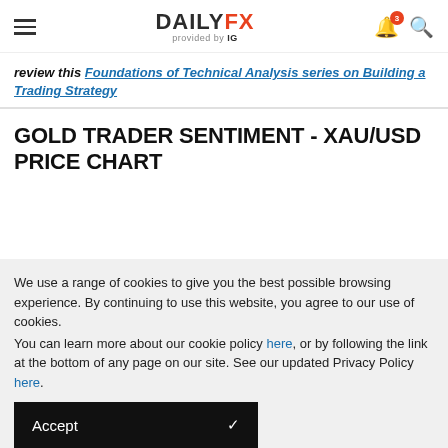DAILYFX provided by IG
review this Foundations of Technical Analysis series on Building a Trading Strategy
GOLD TRADER SENTIMENT - XAU/USD PRICE CHART
We use a range of cookies to give you the best possible browsing experience. By continuing to use this website, you agree to our use of cookies.
You can learn more about our cookie policy here, or by following the link at the bottom of any page on our site. See our updated Privacy Policy here.
Accept